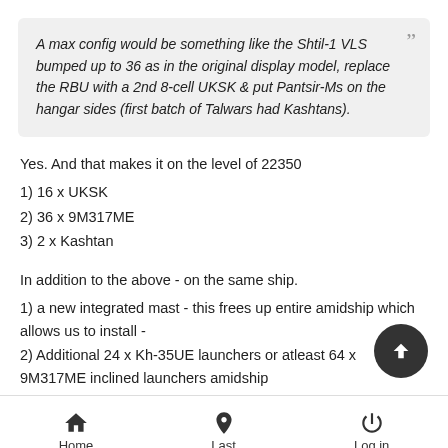A max config would be something like the Shtil-1 VLS bumped up to 36 as in the original display model, replace the RBU with a 2nd 8-cell UKSK & put Pantsir-Ms on the hangar sides (first batch of Talwars had Kashtans).
Yes. And that makes it on the level of 22350
1) 16 x UKSK
2) 36 x 9M317ME
3) 2 x Kashtan
In addition to the above - on the same ship.
1) a new integrated mast - this frees up entire amidship which allows us to install -
2) Additional 24 x Kh-35UE launchers or atleast 64 x 9M317ME inclined launchers amidship
Home  Last  Log in